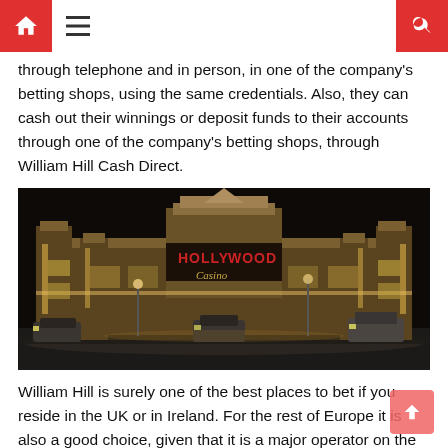[Home] [Menu] [Search]
through telephone and in person, in one of the company's betting shops, using the same credentials. Also, they can cash out their winnings or deposit funds to their accounts through one of the company's betting shops, through William Hill Cash Direct.
[Figure (photo): Night-time exterior photo of Hollywood Casino building, illuminated with warm golden lights, with cars and snow-covered parking lot in the foreground.]
William Hill is surely one of the best places to bet if you reside in the UK or in Ireland. For the rest of Europe it is also a good choice, given that it is a major operator on the market, with few problems encountered by